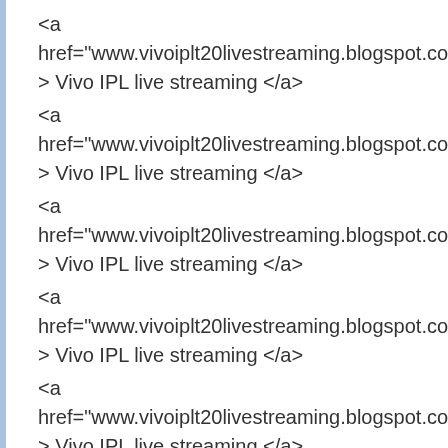<a href="www.vivoiplt20livestreaming.blogspot.com/" > Vivo IPL live streaming </a>
<a href="www.vivoiplt20livestreaming.blogspot.com/" > Vivo IPL live streaming </a>
<a href="www.vivoiplt20livestreaming.blogspot.com/" > Vivo IPL live streaming </a>
<a href="www.vivoiplt20livestreaming.blogspot.com/" > Vivo IPL live streaming </a>
<a href="www.vivoiplt20livestreaming.blogspot.com/" > Vivo IPL live streaming </a>
<a href="www.vivoiplt20livestreaming.blogspot.com/" > Vivo IPL live streaming </a>